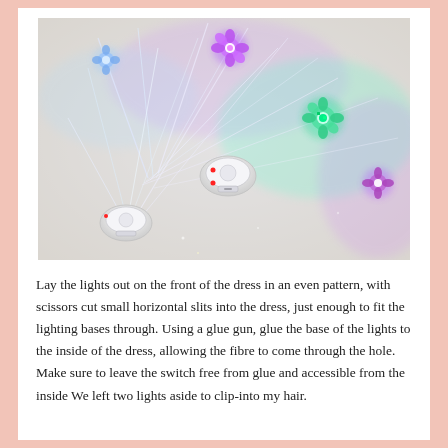[Figure (photo): Close-up photo of fiber optic LED hair lights arranged on a light surface. The lights have flower-shaped tops in purple and green with glowing LEDs, and white fiber optic strands spreading out from circular white battery bases.]
Lay the lights out on the front of the dress in an even pattern, with scissors cut small horizontal slits into the dress, just enough to fit the lighting bases through. Using a glue gun, glue the base of the lights to the inside of the dress, allowing the fibre to come through the hole. Make sure to leave the switch free from glue and accessible from the inside We left two lights aside to clip-into my hair.